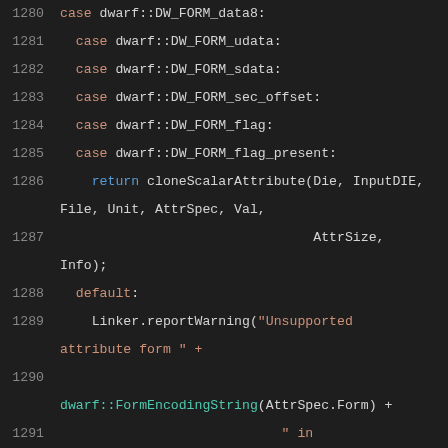[Figure (screenshot): Source code viewer showing C++ code lines 1280-1305 with syntax highlighting on dark background. Lines show dwarf form cases, cloneScalarAttribute return, default Linker.reportWarning, isObjCSelector function, and addObjCAccelerator function definition.]